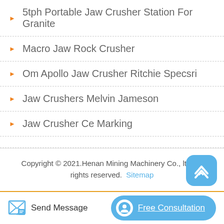5tph Portable Jaw Crusher Station For Granite
Macro Jaw Rock Crusher
Om Apollo Jaw Crusher Ritchie Specsri
Jaw Crushers Melvin Jameson
Jaw Crusher Ce Marking
Copyright © 2021.Henan Mining Machinery Co., ltd. All rights reserved. Sitemap
Send Message
Free Consultation